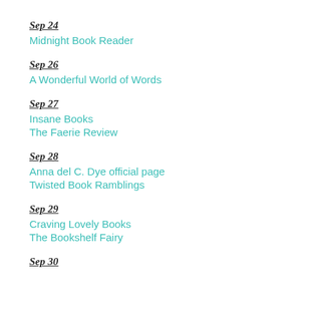Sep 24
Midnight Book Reader
Sep 26
A Wonderful World of Words
Sep 27
Insane Books
The Faerie Review
Sep 28
Anna del C. Dye official page
Twisted Book Ramblings
Sep 29
Craving Lovely Books
The Bookshelf Fairy
Sep 30